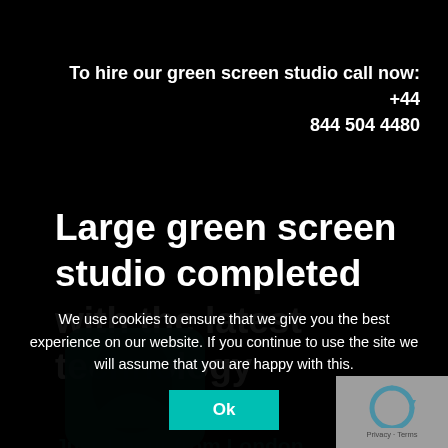To hire our green screen studio call now: +44 844 504 4480
Large green screen studio completed with the latest technology
Just 1 hour from London
We use cookies to ensure that we give you the best experience on our website. If you continue to use the site we will assume that you are happy with this.
Ok